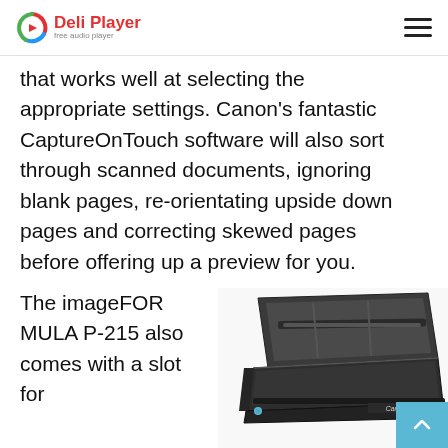Deli Player — free audio player
that works well at selecting the appropriate settings. Canon's fantastic CaptureOnTouch software will also sort through scanned documents, ignoring blank pages, re-orientating upside down pages and correcting skewed pages before offering up a preview for you.
The imageFORMULA P-215 also comes with a slot for
[Figure (photo): Canon imageFORMULA P-215 portable document scanner shown open at an angle, viewed from above, with the paper feed tray visible, on a white background.]